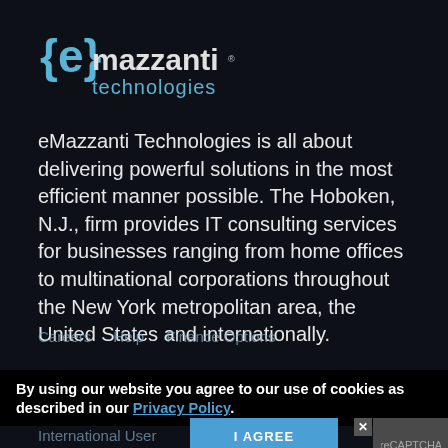[Figure (logo): eMazzanti Technologies logo with curly-brace 'e' icon in blue on dark background, with 'mazzanti' in white and 'technologies' in blue below]
eMazzanti Technologies is all about delivering powerful solutions in the most efficient manner possible. The Hoboken, N.J., firm provides IT consulting services for businesses ranging from home offices to multinational corporations throughout the New York metropolitan area, the United States and internationally.
Careers   Help   Finance Options
By using our website you agree to our use of cookies as described in our Privacy Policy.
Privacy Policy   Privacy Policy   Terms of Use
I AGREE
International User